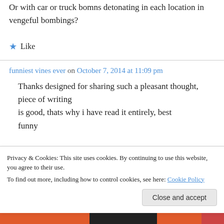Or with car or truck bomns detonating in each location in vengeful bombings?
★ Like
funniest vines ever on October 7, 2014 at 11:09 pm
Thanks designed for sharing such a pleasant thought, piece of writing is good, thats why i have read it entirely, best funny
Privacy & Cookies: This site uses cookies. By continuing to use this website, you agree to their use.
To find out more, including how to control cookies, see here: Cookie Policy
Close and accept